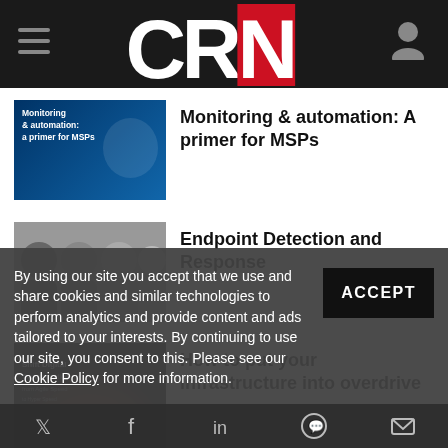CRN
Monitoring & automation: A primer for MSPs
Endpoint Detection and Response
How to put your infrastructure into overdrive
MSPs: Stack your solutions
By using our site you accept that we use and share cookies and similar technologies to perform analytics and provide content and ads tailored to your interests. By continuing to use our site, you consent to this. Please see our Cookie Policy for more information.